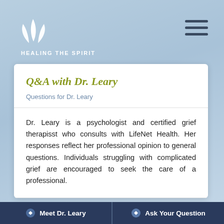[Figure (logo): White leaf/plant logo with text HEALING THE SPIRIT]
Q&A with Dr. Leary
Questions for Dr. Leary
Dr. Leary is a psychologist and certified grief therapisst who consults with LifeNet Health. Her responses reflect her professional opinion to general questions. Individuals struggling with complicated grief are encouraged to seek the care of a professional.
Meet Dr. Leary   Ask Your Question